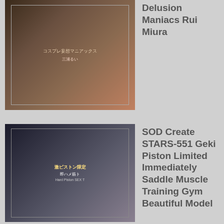[Figure (photo): DVD cover art for a Japanese adult video titled Cosplay Delusion Maniacs featuring Rui Miura, showing a woman in a cheerleader outfit]
Delusion Maniacs Rui Miura
[Figure (photo): DVD cover art for SOD Create STARS-551 Geki Piston Limited Immediately Saddle Muscle Training Gym Beautiful Model, showing a woman in a gym setting]
SOD Create STARS-551 Geki Piston Limited Immediately Saddle Muscle Training Gym Beautiful Model